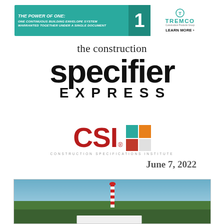[Figure (infographic): Tremco advertisement banner: teal background with bold italic text 'THE POWER OF ONE:' and subtitle 'ONE CONTINUOUS BUILDING ENVELOPE SYSTEM WARRANTED TOGETHER UNDER A SINGLE DOCUMENT', large white number '1', and Tremco logo with 'LEARN MORE >' text]
the construction specifier EXPRESS
[Figure (logo): CSI Construction Specifications Institute logo with large red 'CSI' text, registered trademark, colorful building icon (teal, orange, red squares), and 'CONSTRUCTION SPECIFICATIONS INSTITUTE' tagline]
June 7, 2022
[Figure (photo): Outdoor photo showing a red and white striped tower/lighthouse structure against a clear blue sky, surrounded by green trees, with a white structure or wall in the foreground]